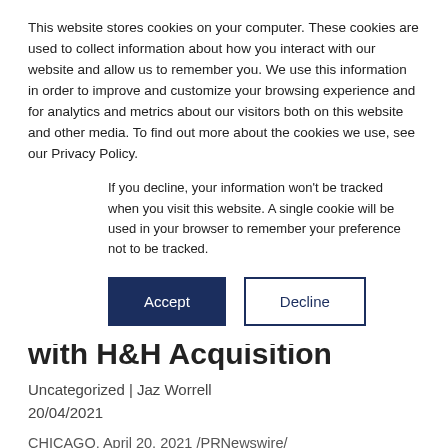This website stores cookies on your computer. These cookies are used to collect information about how you interact with our website and allow us to remember you. We use this information in order to improve and customize your browsing experience and for analytics and metrics about our visitors both on this website and other media. To find out more about the cookies we use, see our Privacy Policy.
If you decline, your information won't be tracked when you visit this website. A single cookie will be used in your browser to remember your preference not to be tracked.
Accept | Decline
with H&H Acquisition
Uncategorized | Jaz Worrell
20/04/2021
CHICAGO, April 20, 2021 /PRNewswire/